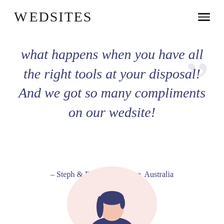WEDSITES
what happens when you have all the right tools at your disposal! And we got so many compliments on our wedsite!
– Steph & Ryan, Melbourne, Australia
[Figure (illustration): Illustrated avatar of a person with dark hair shown from the shoulders up, on a light pink circular background. The figure is a simple flat illustration in dark navy and pink tones.]